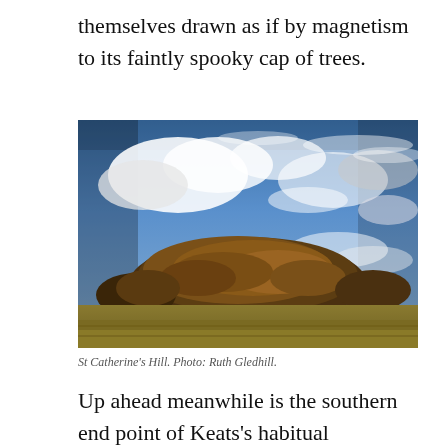themselves drawn as if by magnetism to its faintly spooky cap of trees.
[Figure (photo): Landscape photo of St Catherine's Hill: a large, dome-shaped cluster of autumn-coloured trees in the middle distance, under a dramatic blue sky filled with wispy and cumulus white clouds. The foreground shows golden-brown grass.]
St Catherine's Hill. Photo: Ruth Gledhill.
Up ahead meanwhile is the southern end point of Keats's habitual constitutionals, the remarkable